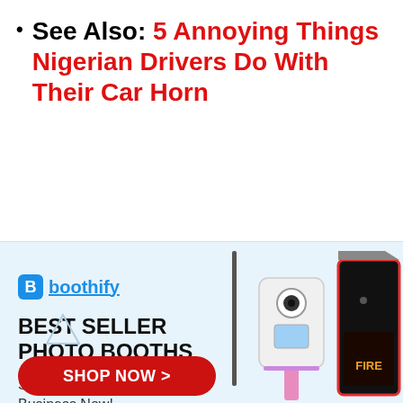See Also: 5 Annoying Things Nigerian Drivers Do With Their Car Horn
[Figure (infographic): Advertisement for Boothify photo booths. Shows logo, 'BEST SELLER PHOTO BOOTHS' headline, 'Start Photo Booth Business Now!' tagline, photo booth product images, and a red 'SHOP NOW >' button.]